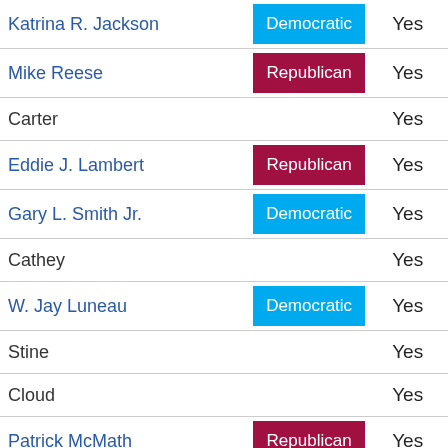| Name | Party | Vote |
| --- | --- | --- |
| Katrina R. Jackson (link) | Democratic | Yes |
| Mike Reese (link) | Republican | Yes |
| Carter |  | Yes |
| Eddie J. Lambert (link) | Republican | Yes |
| Gary L. Smith Jr. (link) | Democratic | Yes |
| Cathey |  | Yes |
| W. Jay Luneau (link) | Democratic | Yes |
| Stine |  | Yes |
| Cloud |  | Yes |
| Patrick McMath (link) | Republican | Yes |
| Kirk Talbot (link) | Republican | Yes |